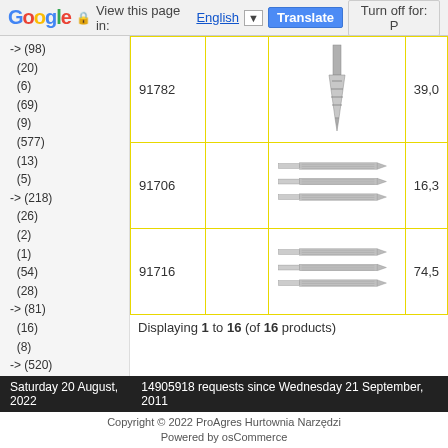Google — View this page in: English [▼] [Translate] [Turn off for: P]
-> (98)
(20)
(6)
(69)
(9)
(577)
(13)
(5)
-> (218)
(26)
(2)
(1)
(54)
(28)
-> (81)
(16)
(8)
-> (520)
-> (44)
(11)
(3)
(19)
(53)
(9)
(4)
| ID | Image | Price |
| --- | --- | --- |
| 91782 | [tool image] | 39,0 |
| 91706 | [tool image] | 16,3 |
| 91716 | [tool image] | 74,5 |
Displaying 1 to 16 (of 16 products)
Saturday 20 August, 2022    14905918 requests since Wednesday 21 September, 2011
Copyright © 2022 ProAgres Hurtownia Narzędzi
Powered by osCommerce